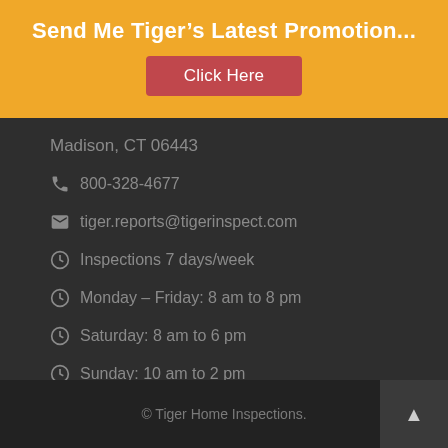Send Me Tiger's Latest Promotion...
Click Here
Madison, CT 06443
800-328-4677
tiger.reports@tigerinspect.com
Inspections 7 days/week
Monday – Friday: 8 am to 8 pm
Saturday: 8 am to 6 pm
Sunday: 10 am to 2 pm
© Tiger Home Inspections.